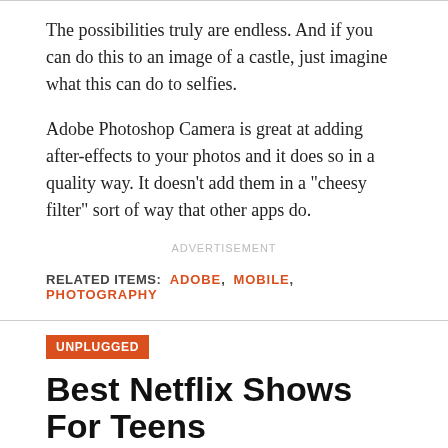The possibilities truly are endless. And if you can do this to an image of a castle, just imagine what this can do to selfies.
Adobe Photoshop Camera is great at adding after-effects to your photos and it does so in a quality way. It doesn't add them in a “cheesy filter” sort of way that other apps do.
ADVERTISEMENT
RELATED ITEMS: ADOBE, MOBILE, PHOTOGRAPHY
UNPLUGGED
Best Netflix Shows For Teens
By Kat Dube